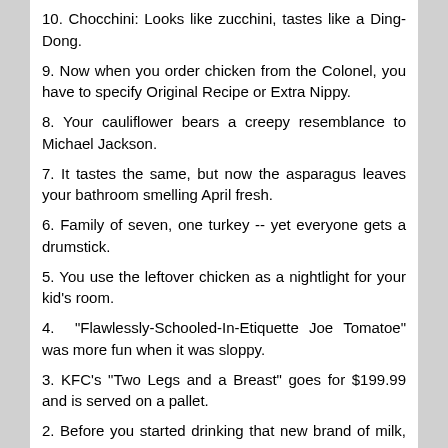10. Chocchini: Looks like zucchini, tastes like a Ding-Dong.
9. Now when you order chicken from the Colonel, you have to specify Original Recipe or Extra Nippy.
8. Your cauliflower bears a creepy resemblance to Michael Jackson.
7. It tastes the same, but now the asparagus leaves your bathroom smelling April fresh.
6. Family of seven, one turkey -- yet everyone gets a drumstick.
5. You use the leftover chicken as a nightlight for your kid's room.
4.  "Flawlessly-Schooled-In-Etiquette Joe Tomatoe" was more fun when it was sloppy.
3. KFC's "Two Legs and a Breast" goes for $199.99 and is served on a pallet.
2. Before you started drinking that new brand of milk, you